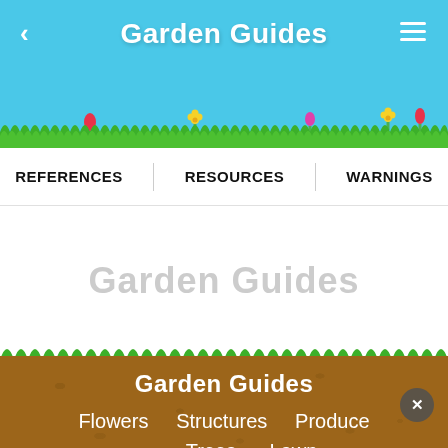Garden Guides
REFERENCES   RESOURCES   WARNINGS
Garden Guides
Garden Guides
Flowers   Structures   Produce   Trees   Lawn
About Us   Accessibility   Terms of Use   Privacy Policy   Copyright Policy   Manage Preferences
Copyright Leaf Group Ltd. // Leaf Group Lifestyle. All Rights Reserved.